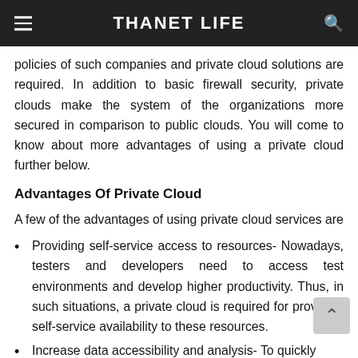THANET LIFE
policies of such companies and private cloud solutions are required. In addition to basic firewall security, private clouds make the system of the organizations more secured in comparison to public clouds. You will come to know about more advantages of using a private cloud further below.
Advantages Of Private Cloud
A few of the advantages of using private cloud services are
Providing self-service access to resources- Nowadays, testers and developers need to access test environments and develop higher productivity. Thus, in such situations, a private cloud is required for providing self-service availability to these resources.
Increase data accessibility and analysis- To quickly